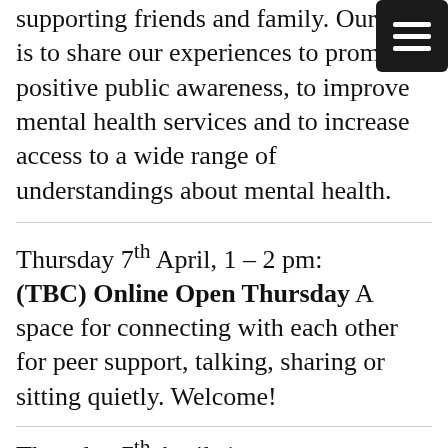supporting friends and family. Our aim is to share our experiences to promote positive public awareness, to improve mental health services and to increase access to a wide range of understandings about mental health.
Thursday 7th April, 1 – 2 pm: (TBC) Online Open Thursday A space for connecting with each other for peer support, talking, sharing or sitting quietly. Welcome!
Thursday 7th April, 1 –